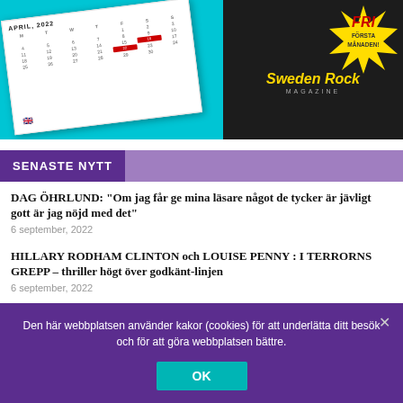[Figure (illustration): Advertisement banner for Sweden Rock Magazine showing a calendar for April 2022 on a teal background on the left, and on the right a dark background with 'FRI FÖRSTA MÅNADEN!' text in a starburst shape, alongside 'Sweden Rock Magazine' branding and a person in costume.]
SENASTE NYTT
DAG ÖHRLUND: "Om jag får ge mina läsare något de tycker är jävligt gott är jag nöjd med det"
6 september, 2022
HILLARY RODHAM CLINTON och LOUISE PENNY : I TERRORNS GREPP – thriller högt över godkänt-linjen
6 september, 2022
Den här webbplatsen använder kakor (cookies) för att underlätta ditt besök och för att göra webbplatsen bättre.